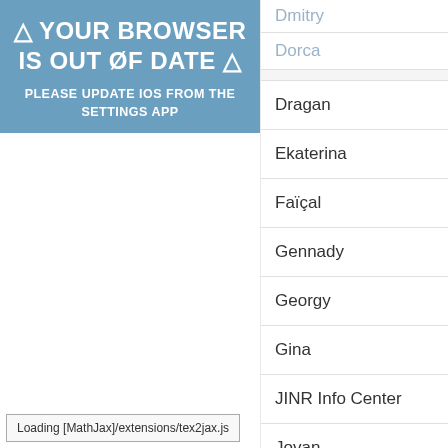⚠ YOUR BROWSER IS OUT OF DATE ⚠
PLEASE UPDATE IOS FROM THE SETTINGS APP
Dmitry
Dorca
Dragan
Ekaterina
Faïçal
Gennady
Georgy
Gina
JINR Info Center
Jovan
Loading [MathJax]/extensions/tex2jax.js